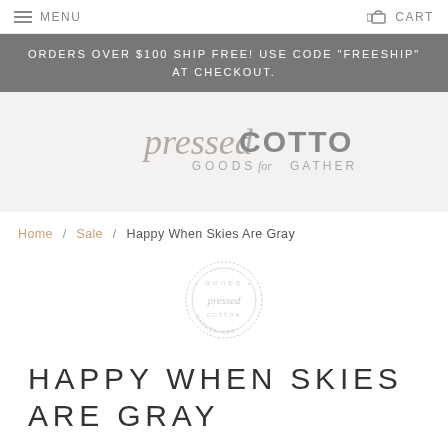MENU   CART
ORDERS OVER $100 SHIP FREE! USE CODE "FREESHIP" AT CHECKOUT.
[Figure (logo): Pressed Cotton Goods for Gatherings logo in gray script and sans-serif text]
Home / Sale / Happy When Skies Are Gray
[Figure (logo): Circular watermark/stamp logo for Pressed Cotton Goods for Gatherings]
HAPPY WHEN SKIES ARE GRAY